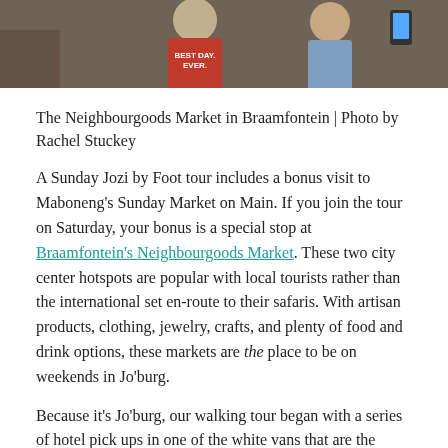[Figure (photo): Cropped photo showing people at a market; a person in a red t-shirt reading 'BEST DAY EVER.' is visible in the foreground.]
The Neighbourgoods Market in Braamfontein | Photo by Rachel Stuckey
A Sunday Jozi by Foot tour includes a bonus visit to Maboneng's Sunday Market on Main. If you join the tour on Saturday, your bonus is a special stop at Braamfontein's Neighbourgoods Market. These two city center hotspots are popular with local tourists rather than the international set en-route to their safaris. With artisan products, clothing, jewelry, crafts, and plenty of food and drink options, these markets are the place to be on weekends in Jo'burg.
Because it's Jo'burg, our walking tour began with a series of hotel pick ups in one of the white vans that are the mainstay of tourist transport in South Africa. Divan used our drive time to share his local knowledge about all the